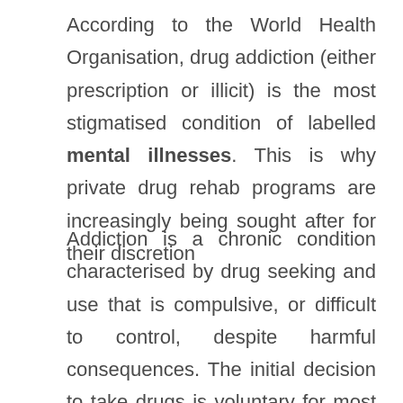According to the World Health Organisation, drug addiction (either prescription or illicit) is the most stigmatised condition of labelled mental illnesses. This is why private drug rehab programs are increasingly being sought after for their discretion
Addiction is a chronic condition characterised by drug seeking and use that is compulsive, or difficult to control, despite harmful consequences. The initial decision to take drugs is voluntary for most people. But repeated drug use can lead to brain changes that challenge an addicted person's self-control and interfere with